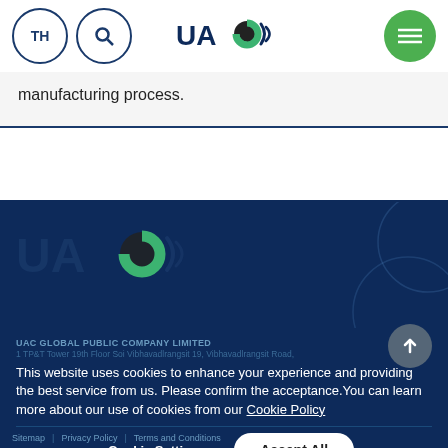TH | UAC (logo) | search | menu
manufacturing process.
[Figure (logo): UAC Global logo in footer area with decorative circles on right]
UAC GLOBAL PUBLIC COMPANY LIMITED
1 TP&T Tower 19th Floor Soi Vibhavadlrangsit 19, Vibhavadlrangsit Road,
This website uses cookies to enhance your experience and providing the best service from us. Please confirm the acceptance.You can learn more about our use of cookies from our Cookie Policy
Sitemap | Privacy Policy | Terms and Conditions